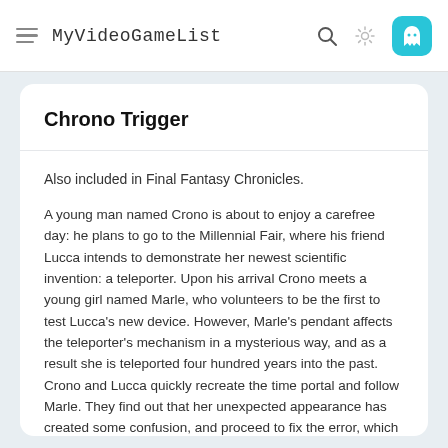MyVideoGameList
Chrono Trigger
Also included in Final Fantasy Chronicles.
A young man named Crono is about to enjoy a carefree day: he plans to go to the Millennial Fair, where his friend Lucca intends to demonstrate her newest scientific invention: a teleporter. Upon his arrival Crono meets a young girl named Marle, who volunteers to be the first to test Lucca's new device. However, Marle's pendant affects the teleporter's mechanism in a mysterious way, and as a result she is teleported four hundred years into the past. Crono and Lucca quickly recreate the time portal and follow Marle. They find out that her unexpected appearance has created some confusion, and proceed to fix the error, which in turn leads to unforeseen consequences, eventually compelling the heroes to travel to different time periods and change the history of the world.